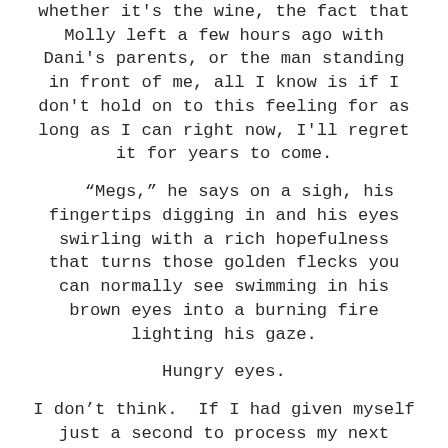whether it's the wine, the fact that Molly left a few hours ago with Dani's parents, or the man standing in front of me, all I know is if I don't hold on to this feeling for as long as I can right now, I'll regret it for years to come.
“Megs,” he says on a sigh, his fingertips digging in and his eyes swirling with a rich hopefulness that turns those golden flecks you can normally see swimming in his brown eyes into a burning fire lighting his gaze.
Hungry eyes.
I don’t think.  If I had given myself just a second to process my next move, I’m sure I would have backed out.  I think I have a fear of I